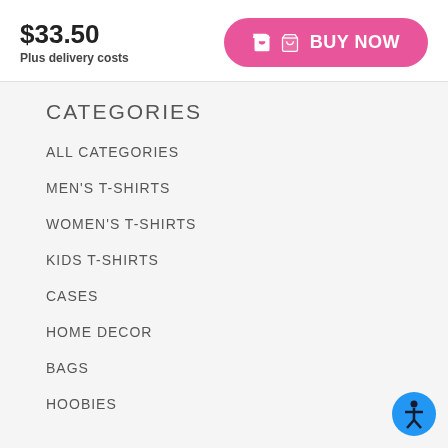$33.50
Plus delivery costs
BUY NOW
CATEGORIES
ALL CATEGORIES
MEN'S T-SHIRTS
WOMEN'S T-SHIRTS
KIDS T-SHIRTS
CASES
HOME DECOR
BAGS
HOOBIES
[Figure (illustration): Blue accessibility icon with person figure]